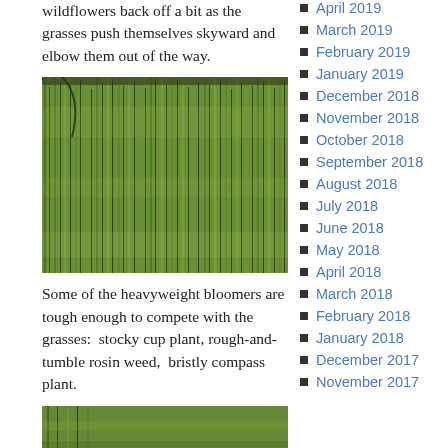wildflowers back off a bit as the grasses push themselves skyward and elbow them out of the way.
[Figure (photo): Dense green grasses growing tall, viewed close up, with thin vertical stems filling the frame.]
Some of the heavyweight bloomers are tough enough to compete with the grasses:  stocky cup plant, rough-and-tumble rosin weed,  bristly compass plant.
[Figure (photo): Bottom portion of a nature photo, partially visible, showing green vegetation.]
April 2019
March 2019
February 2019
January 2019
December 2018
November 2018
October 2018
September 2018
August 2018
July 2018
June 2018
May 2018
April 2018
March 2018
February 2018
January 2018
December 2017
November 2017